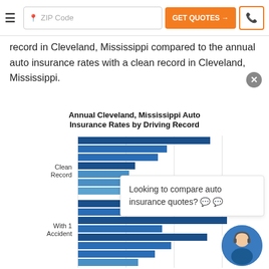ZIP Code | GET QUOTES →
record in Cleveland, Mississippi compared to the annual auto insurance rates with a clean record in Cleveland, Mississippi.
[Figure (bar-chart): Horizontal bar chart showing multiple insurance company rates for Clean Record vs With 1 Accident driving records in Cleveland, Mississippi]